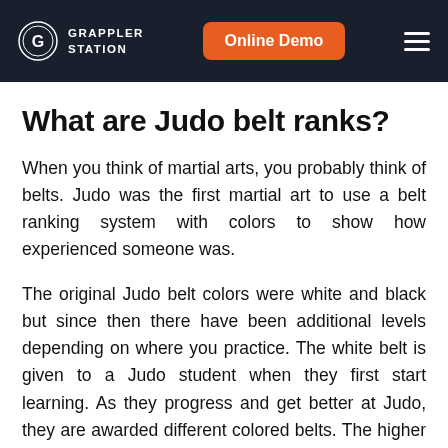GRAPPLER STATION | Online Demo
What are Judo belt ranks?
When you think of martial arts, you probably think of belts. Judo was the first martial art to use a belt ranking system with colors to show how experienced someone was.
The original Judo belt colors were white and black but since then there have been additional levels depending on where you practice. The white belt is given to a Judo student when they first start learning. As they progress and get better at Judo, they are awarded different colored belts. The higher the rank,